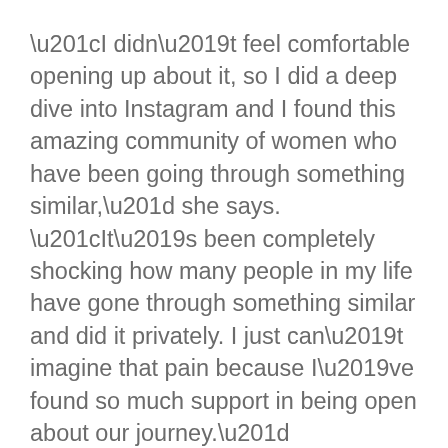“I didn’t feel comfortable opening up about it, so I did a deep dive into Instagram and I found this amazing community of women who have been going through something similar,” she says. “It’s been completely shocking how many people in my life have gone through something similar and did it privately. I just can’t imagine that pain because I’ve found so much support in being open about our journey.”
Allegra posts regularly about her struggle to conceive on Instagram, and has a saved Reels documenting the regimen of injections and medication she had to give